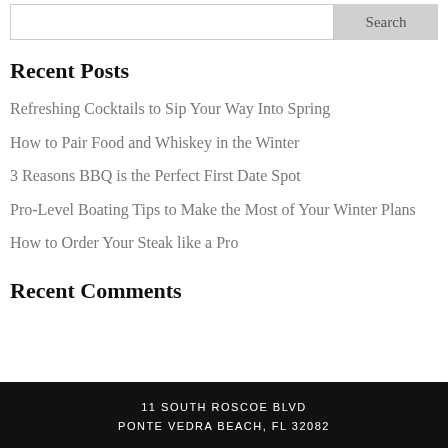Recent Posts
Refreshing Cocktails to Sip Your Way Into Spring
How to Pair Food and Whiskey in the Winter
3 Reasons BBQ is the Perfect First Date Spot
Pro-Level Boating Tips to Make the Most of Your Winter Plans
How to Order Your Steak like a Pro
Recent Comments
11 SOUTH ROSCOE BLVD
PONTE VEDRA BEACH, FL 32082